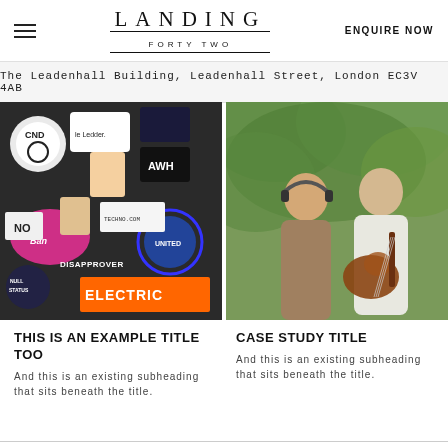LANDING FORTY TWO | ENQUIRE NOW
The Leadenhall Building, Leadenhall Street, London EC3V 4AB
[Figure (photo): Wall covered in stickers and street art posters, featuring CND logo, Ray-Ban, United, Electric, and various other stickers]
[Figure (photo): Two young men outdoors with green foliage background, one wearing headphones and one playing acoustic guitar]
THIS IS AN EXAMPLE TITLE TOO
And this is an existing subheading that sits beneath the title.
CASE STUDY TITLE
And this is an existing subheading that sits beneath the title.